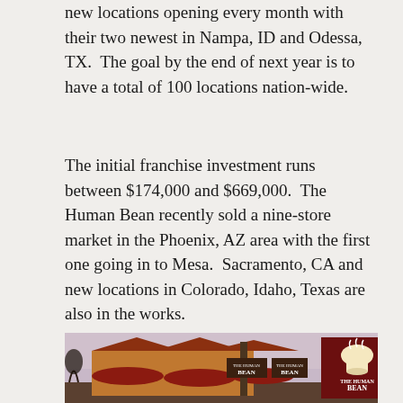new locations opening every month with their two newest in Nampa, ID and Odessa, TX.  The goal by the end of next year is to have a total of 100 locations nation-wide.
The initial franchise investment runs between $174,000 and $669,000.  The Human Bean recently sold a nine-store market in the Phoenix, AZ area with the first one going in to Mesa.  Sacramento, CA and new locations in Colorado, Idaho, Texas are also in the works.
[Figure (photo): Exterior photo of The Human Bean coffee drive-through location at dusk/dawn, showing the building with maroon awnings and large illuminated signage with the Human Bean logo (coffee cup with steam) on a tall dark red sign.]